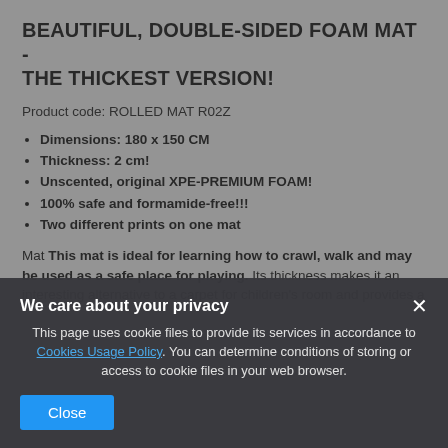BEAUTIFUL, DOUBLE-SIDED FOAM MAT - THE THICKEST VERSION!
Product code: ROLLED MAT R02Z
Dimensions: 180 x 150 CM
Thickness: 2 cm!
Unscented, original XPE-PREMIUM FOAM!
100% safe and formamide-free!!!
Two different prints on one mat
Mat This mat is ideal for learning how to crawl, walk and may be used as a safe place for playing. Its thickness makes it an interesting alternative to a carpet for children's room and provides a
We care about your privacy
This page uses cookie files to provide its services in accordance to Cookies Usage Policy. You can determine conditions of storing or access to cookie files in your web browser.
Close